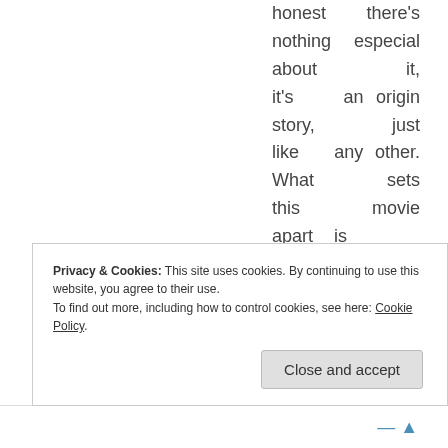honest there's nothing especial about it, it's an origin story, just like any other. What sets this movie apart is
Privacy & Cookies: This site uses cookies. By continuing to use this website, you agree to their use. To find out more, including how to control cookies, see here: Cookie Policy
Close and accept